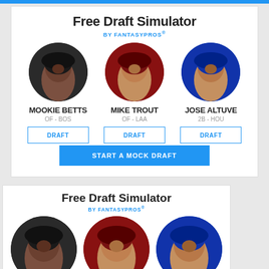Free Draft Simulator
BY FANTASYPROS®
MOOKIE BETTS
OF - BOS
MIKE TROUT
OF - LAA
JOSE ALTUVE
2B - HOU
DRAFT
DRAFT
DRAFT
START A MOCK DRAFT
Free Draft Simulator
BY FANTASYPROS®
MOOKIE BETTS
OF - BOS
MIKE TROUT
OF - LAA
JOSE ALTUVE
2B - HOU